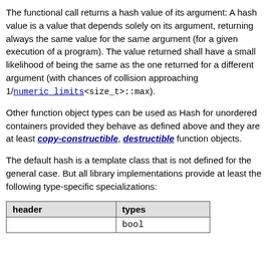The functional call returns a hash value of its argument: A hash value is a value that depends solely on its argument, returning always the same value for the same argument (for a given execution of a program). The value returned shall have a small likelihood of being the same as the one returned for a different argument (with chances of collision approaching 1/numeric_limits<size_t>::max).
Other function object types can be used as Hash for unordered containers provided they behave as defined above and they are at least copy-constructible, destructible function objects.
The default hash is a template class that is not defined for the general case. But all library implementations provide at least the following type-specific specializations:
| header | types |
| --- | --- |
|  | bool |